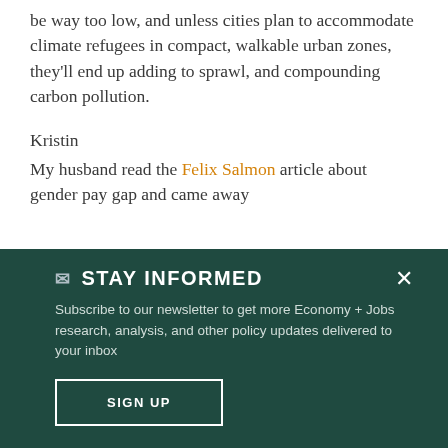be way too low, and unless cities plan to accommodate climate refugees in compact, walkable urban zones, they'll end up adding to sprawl, and compounding carbon pollution.
Kristin
My husband read the Felix Salmon article about gender pay gap and came away
✉ STAY INFORMED
Subscribe to our newsletter to get more Economy + Jobs research, analysis, and other policy updates delivered to your inbox
SIGN UP